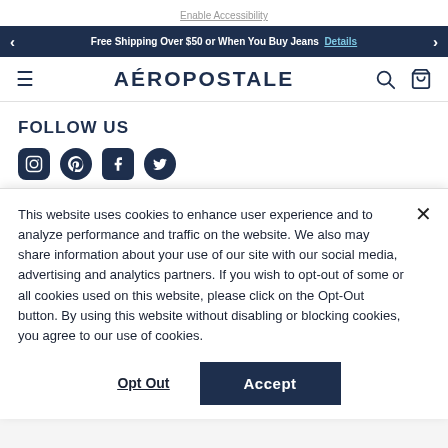Enable Accessibility
Free Shipping Over $50 or When You Buy Jeans  Details
AÉROPOSTALE
FOLLOW US
This website uses cookies to enhance user experience and to analyze performance and traffic on the website. We also may share information about your use of our site with our social media, advertising and analytics partners. If you wish to opt-out of some or all cookies used on this website, please click on the Opt-Out button. By using this website without disabling or blocking cookies, you agree to our use of cookies.
Opt Out
Accept